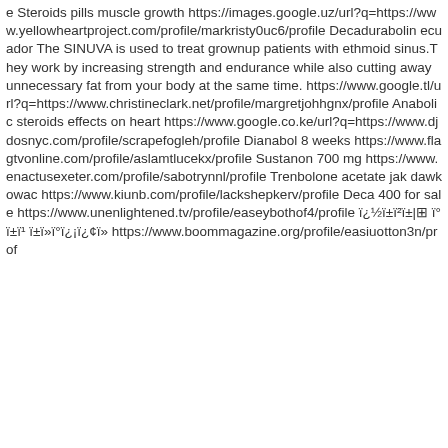e Steroids pills muscle growth https://images.google.uz/url?q=https://www.yellowheartproject.com/profile/markristy0uc6/profile Decadurabolin ecuador The SINUVA is used to treat grownup patients with ethmoid sinus.They work by increasing strength and endurance while also cutting away unnecessary fat from your body at the same time. https://www.google.tl/url?q=https://www.christineclark.net/profile/margretjohhgnx/profile Anabolic steroids effects on heart https://www.google.co.ke/url?q=https://www.djdosnyc.com/profile/scrapefogleh/profile Dianabol 8 weeks https://www.flagtvonline.com/profile/aslamtlucekx/profile Sustanon 700 mg https://www.enactusexeter.com/profile/sabotrynnl/profile Trenbolone acetate jak dawkowac https://www.kiunb.com/profile/lackshepkerv/profile Deca 400 for sale https://www.unenlightened.tv/profile/easeybothof4/profile ï¿½ï±ï²ï±|⊠ ï°ï±ï¹ ï±ï»ï°ï¿¡ï¿¢ï» https://www.boommagazine.org/profile/easiuotton3n/prof